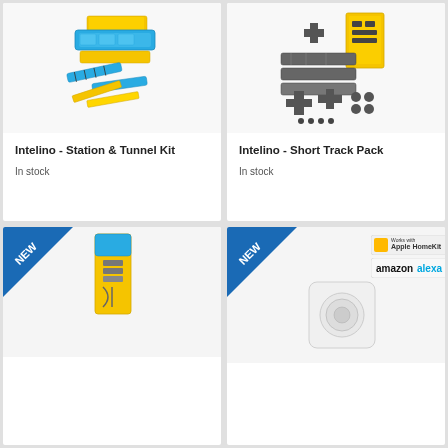[Figure (photo): Intelino Station & Tunnel Kit product photo showing blue and yellow train track components]
Intelino - Station & Tunnel Kit
In stock
[Figure (photo): Intelino Short Track Pack product photo showing dark gray track pieces and connectors]
Intelino - Short Track Pack
In stock
[Figure (photo): NEW badge on corner, product in yellow and blue packaging, track piece visible]
[Figure (photo): NEW badge on corner, white cube-shaped smart home device with Apple HomeKit and Amazon Alexa logos]